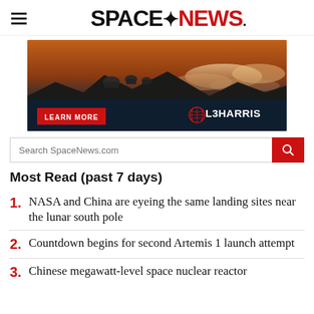SPACENEWS
[Figure (photo): Observatory domes on a mountain at sunset/dusk with cloudy sky. L3Harris advertisement with 'LEARN MORE' button.]
Search SpaceNews.com
Most Read (past 7 days)
1. NASA and China are eyeing the same landing sites near the lunar south pole
2. Countdown begins for second Artemis 1 launch attempt
3. Chinese megawatt-level space nuclear reactor...